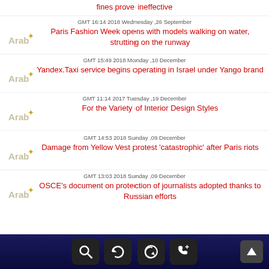fines prove ineffective
GMT 16:14 2018 Wednesday ,26 September
Paris Fashion Week opens with models walking on water, strutting on the runway
GMT 15:49 2018 Monday ,10 December
Yandex.Taxi service begins operating in Israel under Yango brand
GMT 11:14 2017 Tuesday ,19 December
For the Variety of Interior Design Styles
GMT 14:53 2018 Sunday ,09 December
Damage from Yellow Vest protest 'catastrophic' after Paris riots
GMT 13:03 2018 Sunday ,09 December
OSCE's document on protection of journalists adopted thanks to Russian efforts
navigation bar with search, refresh, back, call buttons